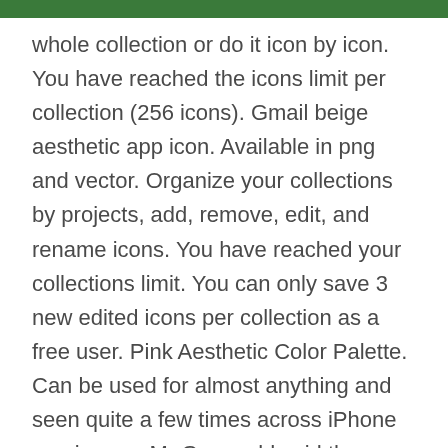whole collection or do it icon by icon. You have reached the icons limit per collection (256 icons). Gmail beige aesthetic app icon. Available in png and vector. Organize your collections by projects, add, remove, edit, and rename icons. You have reached your collections limit. You can only save 3 new edited icons per collection as a free user. Pink Aesthetic Color Palette. Can be used for almost anything and seen quite a few times across iPhone app icon … Mr Grunwald said the home’s Hamptons theme reflected the popularity of the aesthetic in the Perth property scene. Only selling because i upgraded to a newer A7iii body. Select the Choose Photo option to open up your Camera Roll and select that godforsaken icon you chose for this particular app in step one. 1.